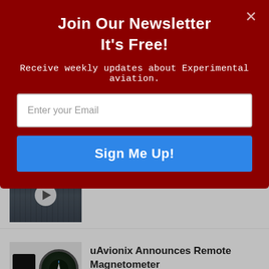Join Our Newsletter
It's Free!
Receive weekly updates about Experimental aviation.
Enter your Email
Sign Me Up!
[Figure (screenshot): Airplane cockpit instrument panel with avionics screens, partially visible behind modal overlay. Has video play button overlay.]
uAvionix Announces Remote Magnetometer
[Figure (photo): uAvionix remote magnetometer device (small black box) and circular aviation instrument gauge on grey background.]
Big Screen EFIS 2022 Buyer's Guide Ta...
[Figure (screenshot): Partial view of a table/spreadsheet with rows and columns for EFIS buyer's guide.]